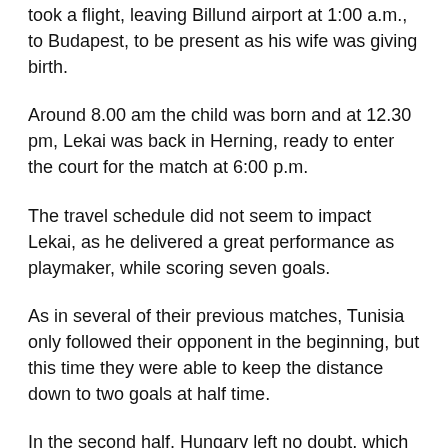took a flight, leaving Billund airport at 1:00 a.m., to Budapest, to be present as his wife was giving birth.
Around 8.00 am the child was born and at 12.30 pm, Lekai was back in Herning, ready to enter the court for the match at 6:00 p.m.
The travel schedule did not seem to impact Lekai, as he delivered a great performance as playmaker, while scoring seven goals.
As in several of their previous matches, Tunisia only followed their opponent in the beginning, but this time they were able to keep the distance down to two goals at half time.
In the second half, Hungary left no doubt, which team would leave the court as a winner.
Tunisia's 5-1 defense formation did not longer present a serious problem to a Hungarian attack, which gain in here a night and at a time.